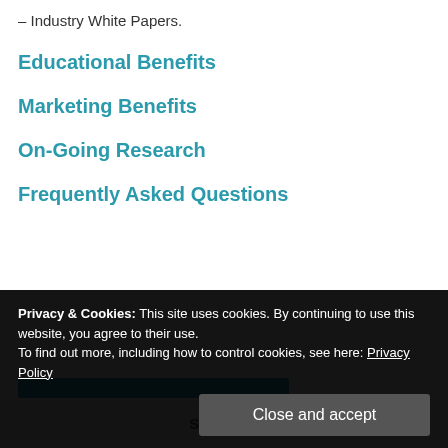– Industry White Papers.
Educational Benefits
Marketing Benefits
On-Going Research
Frequently Asked Questions
Privacy & Cookies: This site uses cookies. By continuing to use this website, you agree to their use.
To find out more, including how to control cookies, see here: Privacy Policy
Close and accept
SEARCH